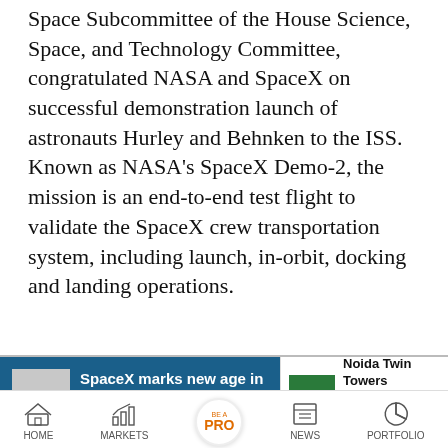Space Subcommittee of the House Science, Space, and Technology Committee, congratulated NASA and SpaceX on successful demonstration launch of astronauts Hurley and Behnken to the ISS. Known as NASA's SpaceX Demo-2, the mission is an end-to-end test flight to validate the SpaceX crew transportation system, including launch, in-orbit, docking and landing operations.
[Figure (screenshot): News article card with blue background showing 'SpaceX marks new age in space travel' with thumbnail image on left]
[Figure (screenshot): News article card showing 'Noida Twin Towers demolition: Residents...' with thumbnail on left]
HOME  MARKETS  BE A PRO  NEWS  PORTFOLIO